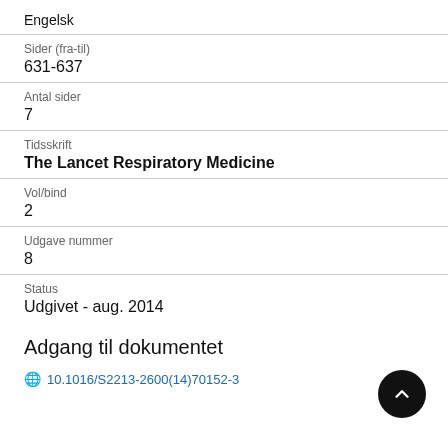Engelsk
Sider (fra-til)
631-637
Antal sider
7
Tidsskrift
The Lancet Respiratory Medicine
Vol/bind
2
Udgave nummer
8
Status
Udgivet - aug. 2014
Adgang til dokumentet
10.1016/S2213-2600(14)70152-3